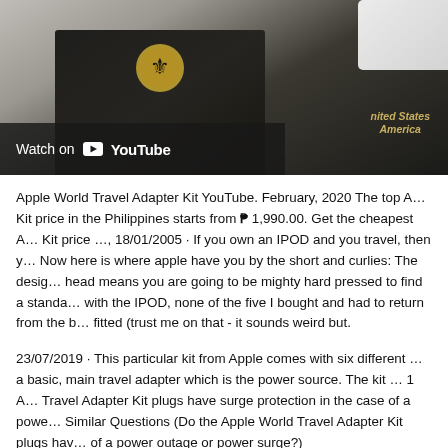[Figure (screenshot): YouTube video thumbnail showing a US passport on a light surface, with a 'Watch on YouTube' overlay bar at the bottom left. A white object is partially visible at top right.]
Apple World Travel Adapter Kit YouTube. February, 2020 The top Apple World Travel Adapter Kit price in the Philippines starts from ₱ 1,990.00. Get the cheapest Apple World Travel Adapter Kit price …, 18/01/2005 · If you own an IPOD and you travel, then you need this kit. Now here is where apple have you by the short and curlies: The design of the proprietary head means you are going to be mighty hard pressed to find a standard plug that fits with the IPOD, none of the five I bought and had to return from the best buy fitted (trust me on that - it sounds weird but.
23/07/2019 · This particular kit from Apple comes with six different plug adapters plus a basic, main travel adapter which is the power source. The kit … 1 Apple World Travel Adapter Kit plugs have surge protection in the case of a power outage or surge? Similar Questions (Do the Apple World Travel Adapter Kit plugs have surge protection in the case of a power outage or power surge?)